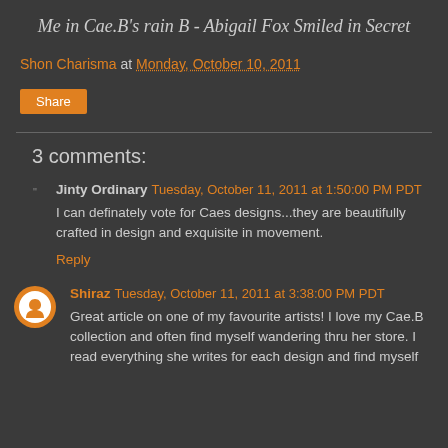Me in Cae.B's rain B - Abigail Fox Smiled in Secret
Shon Charisma at Monday, October 10, 2011
Share
3 comments:
Jinty Ordinary  Tuesday, October 11, 2011 at 1:50:00 PM PDT
I can definately vote for Caes designs...they are beautifully crafted in design and exquisite in movement.
Reply
Shiraz  Tuesday, October 11, 2011 at 3:38:00 PM PDT
Great article on one of my favourite artists! I love my Cae.B collection and often find myself wandering thru her store. I read everything she writes for each design and find myself